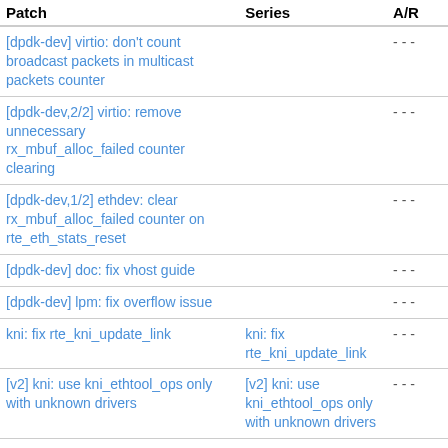| Patch | Series | A/R |
| --- | --- | --- |
| [dpdk-dev] virtio: don't count broadcast packets in multicast packets counter |  | - - - |
| [dpdk-dev,2/2] virtio: remove unnecessary rx_mbuf_alloc_failed counter clearing |  | - - - |
| [dpdk-dev,1/2] ethdev: clear rx_mbuf_alloc_failed counter on rte_eth_stats_reset |  | - - - |
| [dpdk-dev] doc: fix vhost guide |  | - - - |
| [dpdk-dev] lpm: fix overflow issue |  | - - - |
| kni: fix rte_kni_update_link | kni: fix rte_kni_update_link | - - - |
| [v2] kni: use kni_ethtool_ops only with unknown drivers | [v2] kni: use kni_ethtool_ops only with unknown drivers | - - - |
| [v5,3/3] app/test: fix return value of test_kni_link_change | [v5,1/3] kni: rework rte_kni_update_link using ioctl | - - - |
| [v5,2/2] kni: implement basic... | [v5,1/2] kni: rework... | - - - |